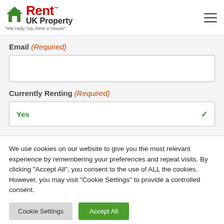[Figure (logo): Rent UK Property logo with green house icon and red 'Rent' text, 'UK Property' subtitle, tagline 'We Help You Rent a House']
Email (Required)
Currently Renting (Required)
Yes
We use cookies on our website to give you the most relevant experience by remembering your preferences and repeat visits. By clicking "Accept All", you consent to the use of ALL the cookies. However, you may visit "Cookie Settings" to provide a controlled consent.
Cookie Settings
Accept All